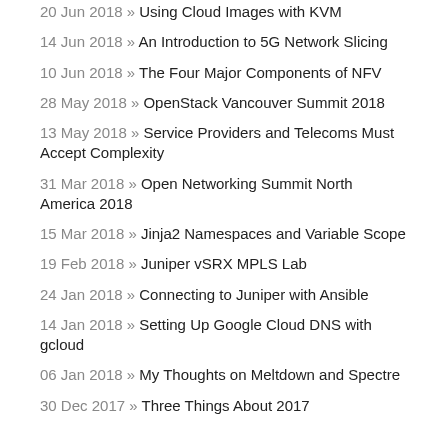20 Jun 2018 » Using Cloud Images with KVM
14 Jun 2018 » An Introduction to 5G Network Slicing
10 Jun 2018 » The Four Major Components of NFV
28 May 2018 » OpenStack Vancouver Summit 2018
13 May 2018 » Service Providers and Telecoms Must Accept Complexity
31 Mar 2018 » Open Networking Summit North America 2018
15 Mar 2018 » Jinja2 Namespaces and Variable Scope
19 Feb 2018 » Juniper vSRX MPLS Lab
24 Jan 2018 » Connecting to Juniper with Ansible
14 Jan 2018 » Setting Up Google Cloud DNS with gcloud
06 Jan 2018 » My Thoughts on Meltdown and Spectre
30 Dec 2017 » Three Things About 2017